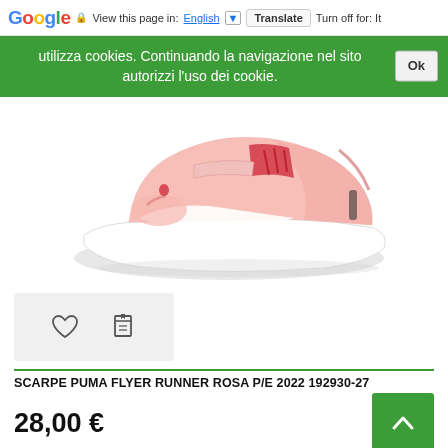Google — View this page in: English [▼] Translate | Turn off for: It...
utilizza cookies. Continuando la navigazione nel sito autorizzi l'uso dei cookie. [Ok]
[Figure (photo): Pink Puma Flyer Runner sneaker with white sole and red laces, shown from the side on a white background]
[Figure (other): Heart (wishlist) and bookmark (list) icon buttons in a grey box]
SCARPE PUMA FLYER RUNNER ROSA P/E 2022 192930-27
28,00 €